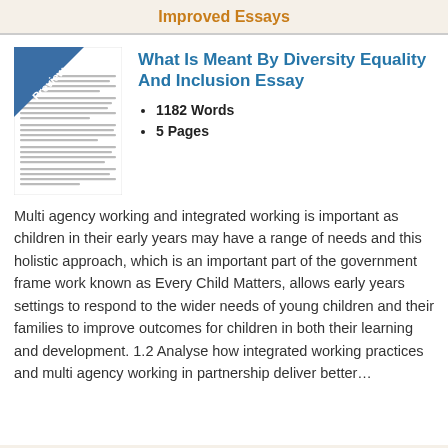Improved Essays
[Figure (illustration): Preview thumbnail of an essay document with a blue 'Preview' ribbon/banner across the top-left corner]
What Is Meant By Diversity Equality And Inclusion Essay
1182 Words
5 Pages
Multi agency working and integrated working is important as children in their early years may have a range of needs and this holistic approach, which is an important part of the government frame work known as Every Child Matters, allows early years settings to respond to the wider needs of young children and their families to improve outcomes for children in both their learning and development. 1.2 Analyse how integrated working practices and multi agency working in partnership deliver better…